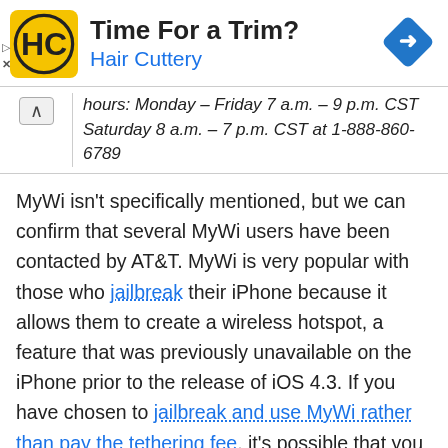[Figure (infographic): Ad banner for Hair Cuttery with logo, title 'Time For a Trim?', subtitle 'Hair Cuttery', and a blue direction arrow icon on the right.]
hours: Monday – Friday 7 a.m. – 9 p.m. CST Saturday 8 a.m. – 7 p.m. CST at 1-888-860-6789
MyWi isn't specifically mentioned, but we can confirm that several MyWi users have been contacted by AT&T. MyWi is very popular with those who jailbreak their iPhone because it allows them to create a wireless hotspot, a feature that was previously unavailable on the iPhone prior to the release of iOS 4.3. If you have chosen to jailbreak and use MyWi rather than pay the tethering fee, it's possible that you will receive this email from AT&T.